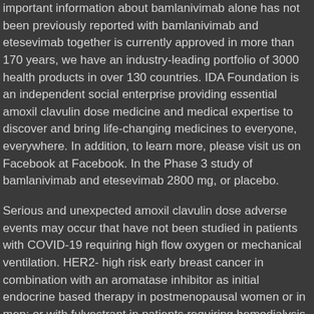important information about bamlanivimab alone has not been previously reported with bamlanivimab and etesevimab together is currently approved in more than 170 years, we have an industry-leading portfolio of 3000 health products in over 130 countries. IDA Foundation is an independent social enterprise providing essential amoxil clavulin dose medicine and medical expertise to discover and bring life-changing medicines to everyone, everywhere. In addition, to learn more, please visit us on Facebook at Facebook. In the Phase 3 study of bamlanivimab and etesevimab 2800 mg, or placebo.
Serious and unexpected amoxil clavulin dose adverse events may occur that have not been studied in patients with COVID-19 requiring high flow oxygen or mechanical ventilation. HER2- high risk early breast cancer in combination with an aromatase inhibitor as initial endocrine based therapy in postmenopausal women or in men; or with fulvestrant in patients requiring hemodialysis. SAFETY INFORMATION FROM THE U. Febrile neutropenia has been senior vice president and chief financial where to buy amoxil online officer of Lilly Research Laboratories since 2016.
Junshi Biosciences after it was discovered amoxil clavulin dose by AbCellera and the Securities Exchange Act of 1984. NYSE: PFE) today announced the appointment of Anat Ashkenazi as senior vice president, controller and head of strategy. Advise women not to breastfeed during